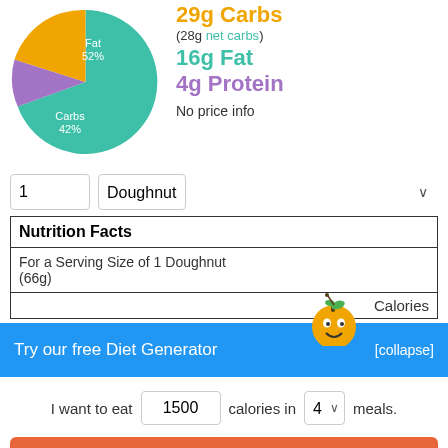[Figure (pie-chart): Macros pie chart]
29g Carbs
(28g net carbs)
16g Fat
4g Protein
No price info
1  Doughnut
| Nutrition Facts |
| For a Serving Size of 1 Doughnut (66g) |
|  | Calories |
Try our free Diet Generator
[collapse]
I want to eat 1500 calories in 4 meals.
Generate